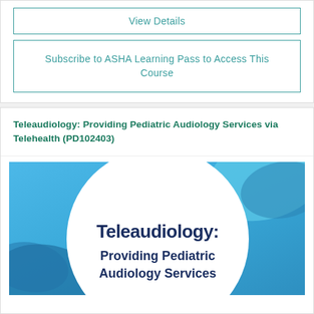View Details
Subscribe to ASHA Learning Pass to Access This Course
Teleaudiology: Providing Pediatric Audiology Services via Telehealth (PD102403)
[Figure (illustration): Course thumbnail image with blue gradient background and white circle in center. Text inside reads: Teleaudiology: Providing Pediatric Audiology Services (partially visible at bottom).]